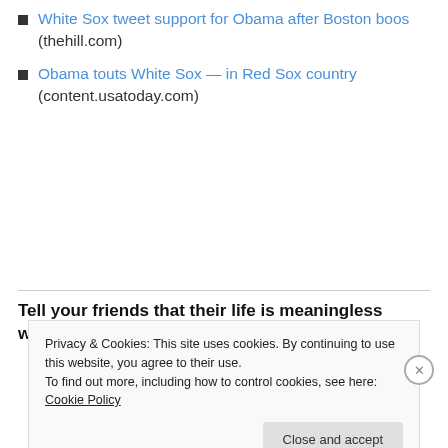White Sox tweet support for Obama after Boston boos (thehill.com)
Obama touts White Sox — in Red Sox country (content.usatoday.com)
Tell your friends that their life is meaningless without
Privacy & Cookies: This site uses cookies. By continuing to use this website, you agree to their use.
To find out more, including how to control cookies, see here: Cookie Policy